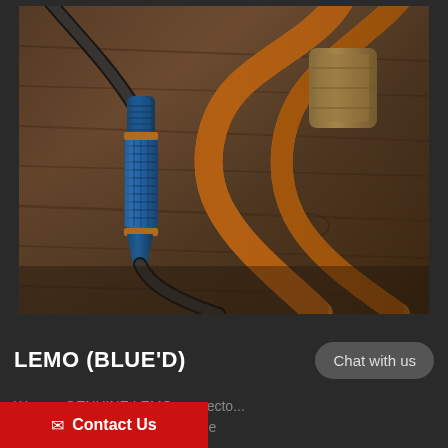[Figure (photo): Close-up photo of audio cables on a wooden surface. A blue anodized LEMO connector is prominently featured in the center-left, connecting black cables. Orange/copper colored braided cables are visible in the background/right side, along with a gold/brass connector in the upper right.]
LEMO (BLUE'D)
Chat with us
We use GENUINE LEMO connectors, cleaning with Acetone to remove and grease